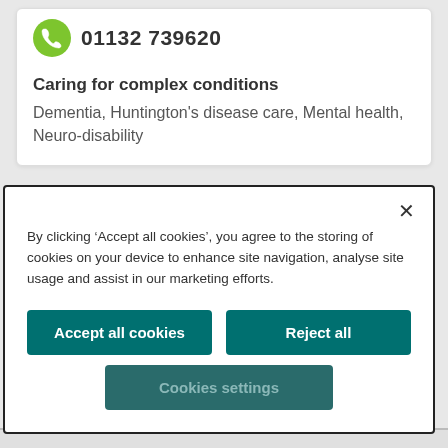01132 739620
Caring for complex conditions
Dementia, Huntington's disease care, Mental health, Neuro-disability
By clicking ‘Accept all cookies’, you agree to the storing of cookies on your device to enhance site navigation, analyse site usage and assist in our marketing efforts.
Accept all cookies
Reject all
Cookies settings